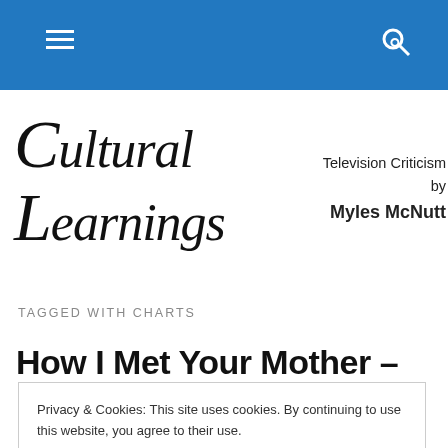Cultural Learnings — navigation bar
[Figure (logo): Cultural Learnings blog logo in italic serif font]
Television Criticism by Myles McNutt
TAGGED WITH CHARTS
How I Met Your Mother –
Privacy & Cookies: This site uses cookies. By continuing to use this website, you agree to their use.
To find out more, including how to control cookies, see here: Cookie Policy
Close and accept